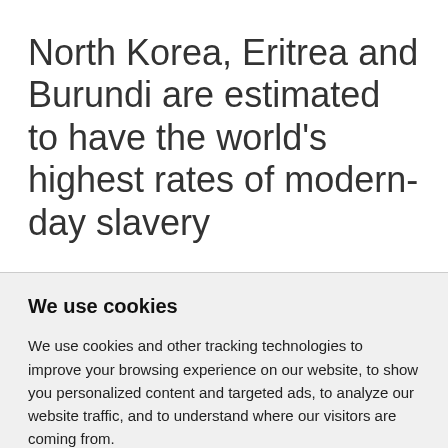North Korea, Eritrea and Burundi are estimated to have the world's highest rates of modern-day slavery
We use cookies
We use cookies and other tracking technologies to improve your browsing experience on our website, to show you personalized content and targeted ads, to analyze our website traffic, and to understand where our visitors are coming from.